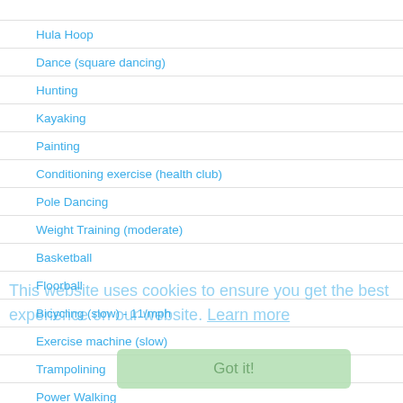Hula Hoop
Dance (square dancing)
Hunting
Kayaking
Painting
Conditioning exercise (health club)
Pole Dancing
Weight Training (moderate)
Basketball
Floorball
Bicycling (slow) - 11/mph
Exercise machine (slow)
Trampolining
Power Walking
Circuit Training
Netball
Skiing (water)
Gym
Shoveling Snow
Scuba Diving
Dance (fast step, aerobic)